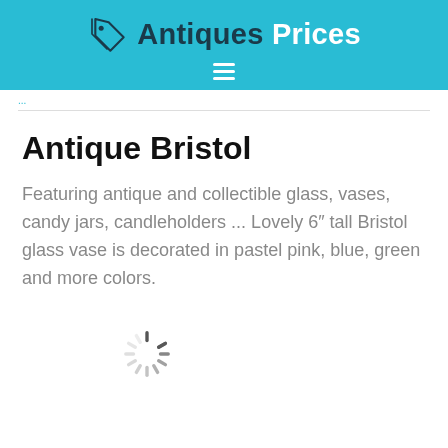Antiques Prices
...
Antique Bristol
Featuring antique and collectible glass, vases, candy jars, candleholders ... Lovely 6" tall Bristol glass vase is decorated in pastel pink, blue, green and more colors.
[Figure (other): Loading spinner icon (circular dashed loading animation)]